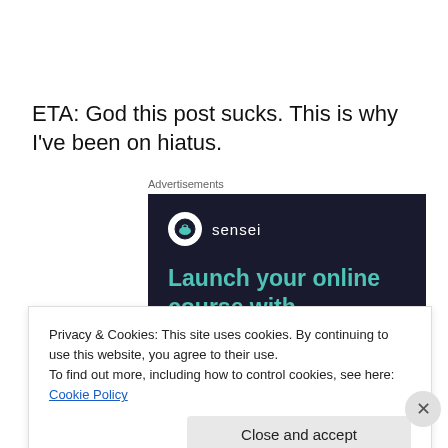ETA: God this post sucks. This is why I've been on hiatus.
[Figure (advertisement): Sensei ad: 'Launch your online course with WordPress' on dark navy background with Sensei logo]
Privacy & Cookies: This site uses cookies. By continuing to use this website, you agree to their use.
To find out more, including how to control cookies, see here: Cookie Policy